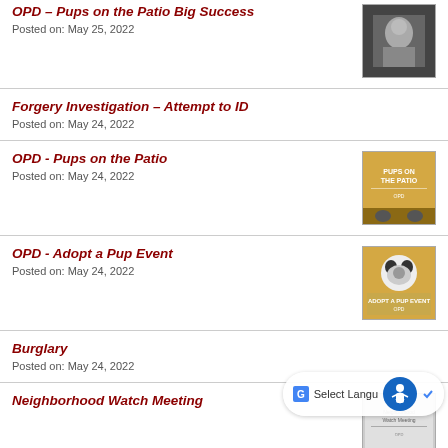OPD – Pups on the Patio Big Success
Posted on: May 25, 2022
Forgery Investigation – Attempt to ID
Posted on: May 24, 2022
OPD - Pups on the Patio
Posted on: May 24, 2022
OPD - Adopt a Pup Event
Posted on: May 24, 2022
Burglary
Posted on: May 24, 2022
Neighborhood Watch Meeting